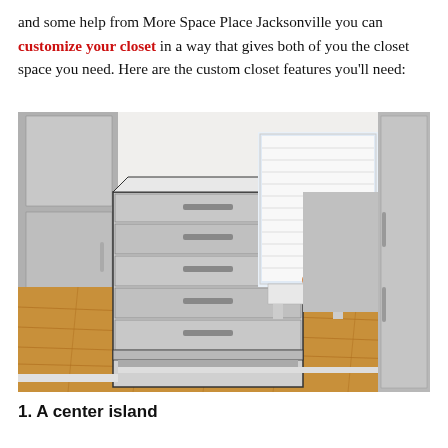and some help from More Space Place Jacksonville you can customize your closet in a way that gives both of you the closet space you need. Here are the custom closet features you'll need:
[Figure (photo): Interior photo of a custom walk-in closet featuring a center island with multiple drawers and chrome handles, gray cabinetry on both sides, a window with white shutters in the background, a hardwood floor, and a small orange starfish decorative pillow on a white bench near the window.]
1. A center island